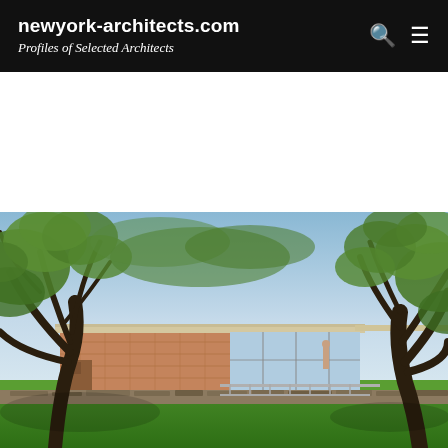newyork-architects.com Profiles of Selected Architects
[Figure (photo): Exterior photograph of a mid-century modern brick house with large trees in the foreground and a flat roof, taken from the front lawn showing lush green grass and a stone retaining wall.]